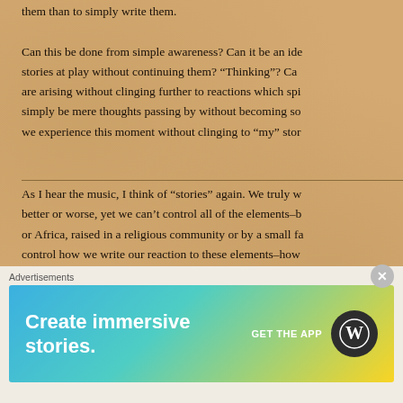them than to simply write them.
Can this be done from simple awareness? Can it be an ide... stories at play without continuing them? “Thinking”? Ca... are arising without clinging further to reactions which spi... simply be mere thoughts passing by without becoming so... we experience this moment without clinging to “my” stor...
As I hear the music, I think of “stories” again. We truly w... better or worse, yet we can’t control all of the elements–b... or Africa, raised in a religious community or by a small fa... control how we write our reaction to these elements–how... story. However, we tend to either overemphasize “My” S... act as though my interpretation is not part of it at all, as th... upon me–pre-written. In other words, we often overlook t... works in our lives. We then overlook how our stories are
Advertisements
[Figure (screenshot): Advertisement banner for WordPress app: 'Create immersive stories.' with GET THE APP button and WordPress logo]